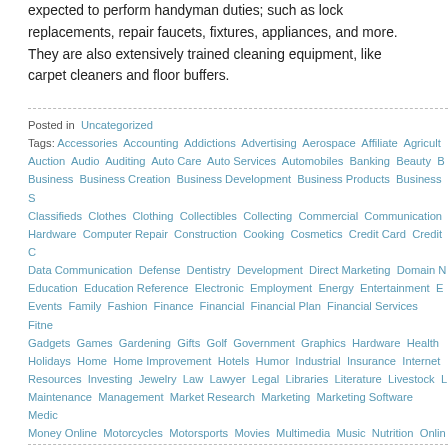expected to perform handyman duties; such as lock replacements, repair faucets, fixtures, appliances, and more. They are also extensively trained cleaning equipment, like carpet cleaners and floor buffers.
Posted in  Uncategorized
Tags: Accessories  Accounting  Addictions  Advertising  Aerospace  Affiliate  Agricult... Auction  Audio  Auditing  Auto Care  Auto Services  Automobiles  Banking  Beauty  B... Business  Business Creation  Business Development  Business Products  Business S... Classifieds  Clothes  Clothing  Collectibles  Collecting  Commercial  Communication  Hardware  Computer Repair  Construction  Cooking  Cosmetics  Credit Card  Credit C... Data Communication  Defense  Dentistry  Development  Direct Marketing  Domain N... Education  Education Reference  Electronic  Employment  Energy  Entertainment  E... Events  Family  Fashion  Finance  Financial  Financial Plan  Financial Services  Fitne... Gadgets  Games  Gardening  Gifts  Golf  Government  Graphics  Hardware  Health  Holidays  Home  Home Improvement  Hotels  Humor  Industrial  Insurance  Internet  Resources  Investing  Jewelry  Law  Lawyer  Legal  Libraries  Literature  Livestock  L... Maintenance  Management  Market Research  Marketing  Marketing Software  Medic... Money Online  Motorcycles  Motorsports  Movies  Multimedia  Music  Nutrition  Onlin... Online Shopping  Other Sports  Outdoor Activities  Outdoor Recreation  People  Pers... Product  Pets  Pharmacy  Photography  Physical Science  Politics  Prescription Drug  Products Supplies  Programming  Public Relations  Publications  Publishing  Real Es... Religion  Safety  Sales  Science  Security  SEM  Seo  Shoes  Shopping  Society  So... Tattoo  Team sport  Technology  Telecommunication  Telemarketing  Tennis  Toys  Tr... International  Travel US Canada  Travelling  Vacation  Watches  Water Sports  Web D... Weightloss  Women Health